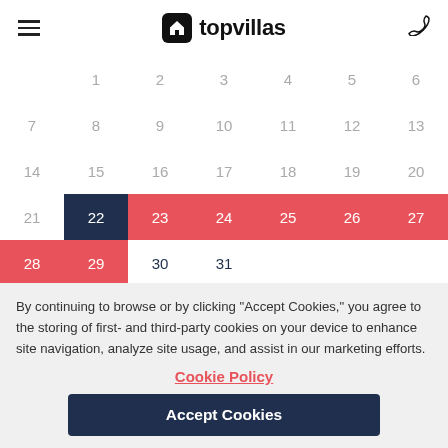topvillas
[Figure (other): Calendar showing a month with dates 1-31. Dates 22 is highlighted in dark navy blue. Dates 23-29 are highlighted in red/coral color indicating a booking period.]
By continuing to browse or by clicking “Accept Cookies,” you agree to the storing of first- and third-party cookies on your device to enhance site navigation, analyze site usage, and assist in our marketing efforts.
Cookie Policy
Accept Cookies